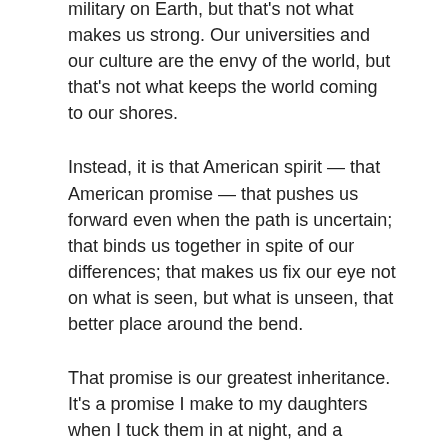military on Earth, but that's not what makes us strong. Our universities and our culture are the envy of the world, but that's not what keeps the world coming to our shores.
Instead, it is that American spirit — that American promise — that pushes us forward even when the path is uncertain; that binds us together in spite of our differences; that makes us fix our eye not on what is seen, but what is unseen, that better place around the bend.
That promise is our greatest inheritance. It's a promise I make to my daughters when I tuck them in at night, and a promise that you make to yours — a promise that has led immigrants to cross oceans and pioneers to travel west; a promise that led workers to picket lines, and women to reach for the ballot.
And it is that promise that forty-five years ago today, brought Americans from every corner of this land to stand together on a Mall in Washington, before Lincoln's